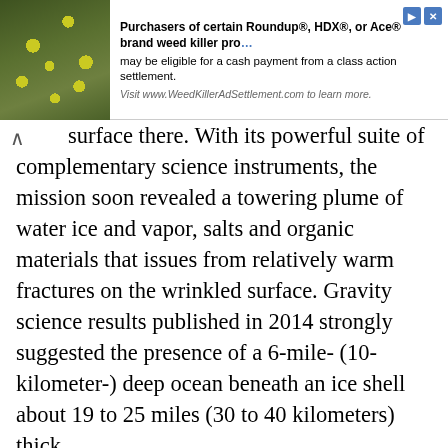[Figure (photo): Advertisement banner showing a photo of yellow flowers on green foliage on the left, with text about Roundup, HDX, or Ace brand weed killer class action settlement on the right.]
surface there. With its powerful suite of complementary science instruments, the mission soon revealed a towering plume of water ice and vapor, salts and organic materials that issues from relatively warm fractures on the wrinkled surface. Gravity science results published in 2014 strongly suggested the presence of a 6-mile- (10-kilometer-) deep ocean beneath an ice shell about 19 to 25 miles (30 to 40 kilometers) thick.
The Cassini-Huygens mission is a cooperative project of NASA, ESA (European Space Agency) and the Italian Space Agency. NASA's Jet Propulsion Laboratory in Pasadena, California, manages the mission for the agency's Science Mission Directorate in Washington. The Cassini CDA instrument was provided by the German